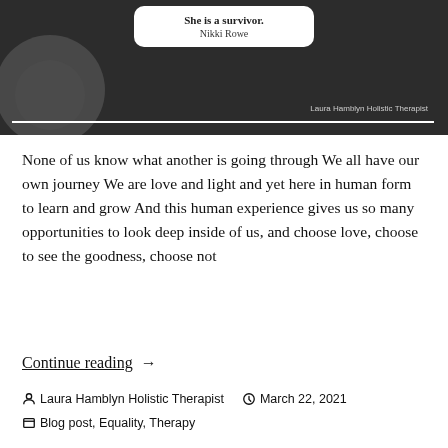[Figure (illustration): Dark background image with a white rounded rectangle quote box showing the text 'She is a survivor.' and attribution 'Nikki Rowe'. Decorative grey circles on the left. 'Laura Hamblyn Holistic Therapist' watermark text and a white progress bar at the bottom.]
None of us know what another is going through We all have our own journey We are love and light and yet here in human form to learn and grow And this human experience gives us so many opportunities to look deep inside of us, and choose love, choose to see the goodness, choose not
Continue reading  →
Laura Hamblyn Holistic Therapist   March 22, 2021
Blog post, Equality, Therapy